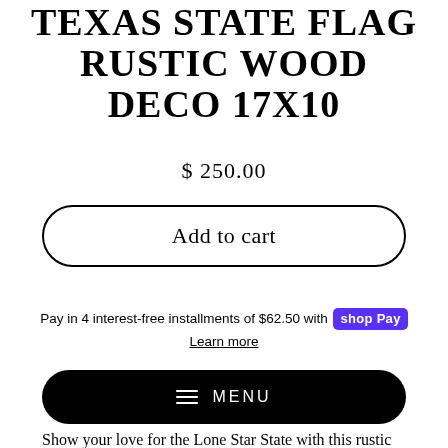TEXAS STATE FLAG RUSTIC WOOD DECO 17X10
$ 250.00
Add to cart
Pay in 4 interest-free installments of $62.50 with Shop Pay
Learn more
MENU
Show your love for the Lone Star State with this rustic